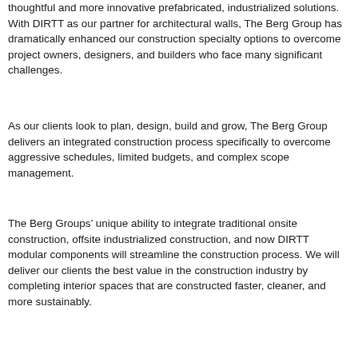thoughtful and more innovative prefabricated, industrialized solutions. With DIRTT as our partner for architectural walls, The Berg Group has dramatically enhanced our construction specialty options to overcome project owners, designers, and builders who face many significant challenges.
As our clients look to plan, design, build and grow, The Berg Group delivers an integrated construction process specifically to overcome aggressive schedules, limited budgets, and complex scope management.
The Berg Groups’ unique ability to integrate traditional onsite construction, offsite industrialized construction, and now DIRTT modular components will streamline the construction process. We will deliver our clients the best value in the construction industry by completing interior spaces that are constructed faster, cleaner, and more sustainably.